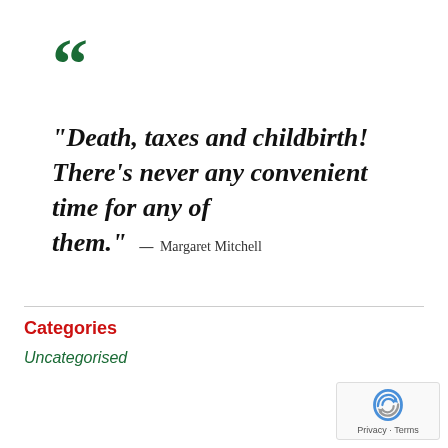[Figure (illustration): Large decorative opening double quotation mark in dark green]
"Death, taxes and childbirth! There's never any convenient time for any of them." — Margaret Mitchell
Categories
Uncategorised
[Figure (logo): reCAPTCHA logo with Privacy and Terms text]